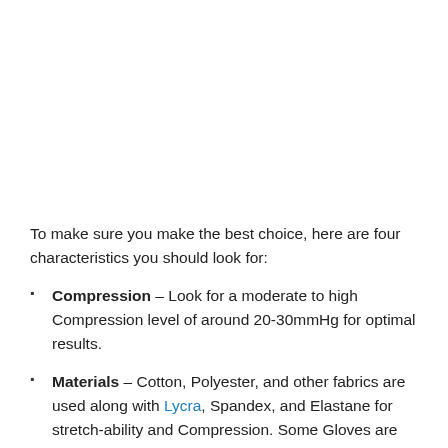To make sure you make the best choice, here are four characteristics you should look for:
Compression – Look for a moderate to high Compression level of around 20-30mmHg for optimal results.
Materials – Cotton, Polyester, and other fabrics are used along with Lycra, Spandex, and Elastane for stretch-ability and Compression. Some Gloves are infused with Copper for their healing properties.
Design – You can choose between a fingerless or full finger